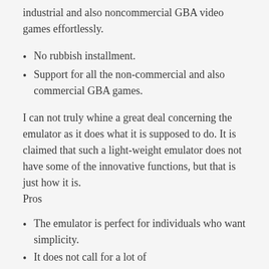industrial and also noncommercial GBA video games effortlessly.
No rubbish installment.
Support for all the non-commercial and also commercial GBA games.
I can not truly whine a great deal concerning the emulator as it does what it is supposed to do. It is claimed that such a light-weight emulator does not have some of the innovative functions, but that is just how it is.
Pros
The emulator is perfect for individuals who want simplicity.
It does not call for a lot of